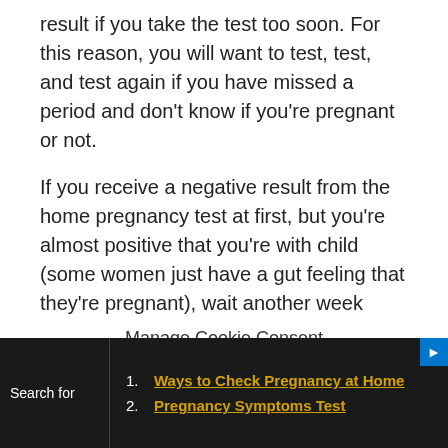result if you take the test too soon. For this reason, you will want to test, test, and test again if you have missed a period and don't know if you're pregnant or not.
If you receive a negative result from the home pregnancy test at first, but you're almost positive that you're with child (some women just have a gut feeling that they're pregnant), wait another week
Manage Cookie Consent
We use cookies to optimize our website and our service.
Search for
1. Ways to Check Pregnancy at Home
2. Pregnancy Symptoms Test